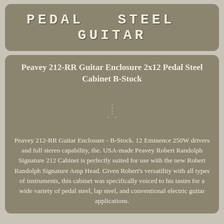PEDAL STEEL GUITAR
Peavey 212-RR Guitar Enclosure 2x12 Pedal Steel Cabinet B-Stock
[Figure (photo): Product image area with small dot markers indicating an image that failed to load or is a placeholder]
Peavey 212-RR Guitar Enclosure - B-Stock. 12 Eminence 250W drivers and full stereo capability, the. USA-made Peavey Robert Randolph Signature 212 Cabinet is perfectly suited for use with the new Robert Randolph Signature Amp Head. Given Robert's versatility with all types of instruments, this cabinet was specifically voiced to his tastes for a wide variety of pedal steel, lap steel, and conventional electric guitar applications.